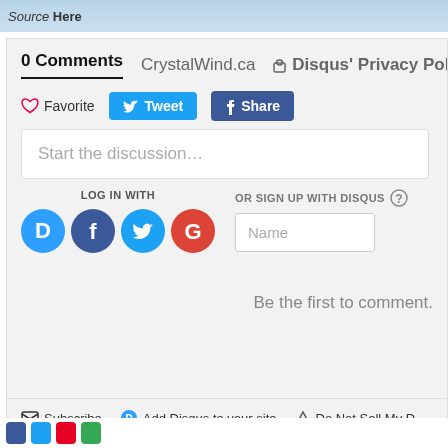Source Here
0 Comments   CrystalWind.ca   Disqus' Privacy Policy
Favorite  Tweet  Share
Start the discussion…
LOG IN WITH
OR SIGN UP WITH DISQUS
Name
Be the first to comment.
Subscribe   Add Disqus to your site   Do Not Sell My D